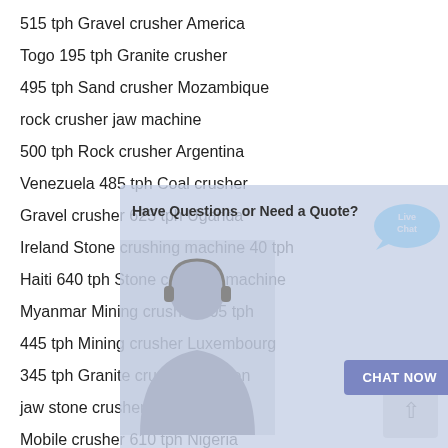515 tph Gravel crusher America
Togo 195 tph Granite crusher
495 tph Sand crusher Mozambique
rock crusher jaw machine
500 tph Rock crusher Argentina
Venezuela 485 tph Coal crusher
Gravel crusher 625 tph Uganda
Ireland Stone crushing machine 40 tph
Haiti 640 tph Stone crushing machine
Myanmar Mining crusher 305 tph
445 tph Mining crusher Luxembourg
345 tph Granite crusher Sweden
jaw stone crusher singapore
Mobile crusher 610 tph Nigeria
Qatar 275 tph Tertiary crushing
[Figure (screenshot): Live chat overlay widget with 'Have Questions or Need a Quote?' header, a customer service representative photo, and a 'CHAT NOW' button. Also includes a Live Chat bubble icon in top right and a scroll-to-top arrow button in bottom right.]